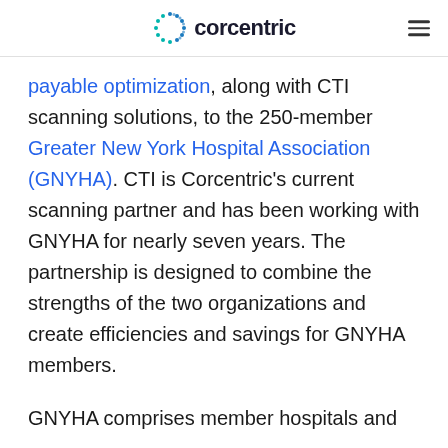corcentric
payable optimization, along with CTI scanning solutions, to the 250-member Greater New York Hospital Association (GNYHA). CTI is Corcentric’s current scanning partner and has been working with GNYHA for nearly seven years. The partnership is designed to combine the strengths of the two organizations and create efficiencies and savings for GNYHA members.
GNYHA comprises member hospitals and